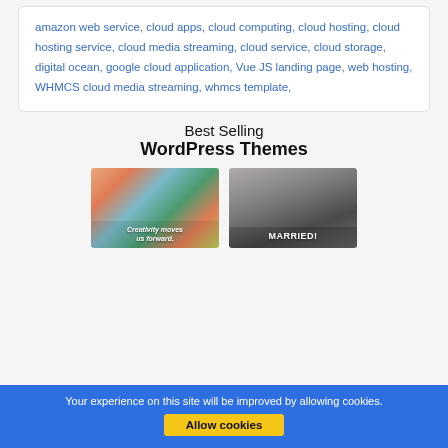amazon web service, cloud apps, cloud computing, cloud hosting, cloud hosting service, cloud media streaming, cloud service, cloud storage, digital ocean, google cloud application, Vue JS landing page, web hosting, WHMCS cloud media streaming, whmcs template,
Best Selling WordPress Themes
[Figure (photo): Colorful floral themed WordPress theme thumbnail with text 'Creativity moves us forward.']
[Figure (photo): Wedding WordPress theme thumbnail with text 'MARRIED!' on a grey-toned photo of a groom.]
Your experience on this site will be improved by allowing cookies.
Allow cookies